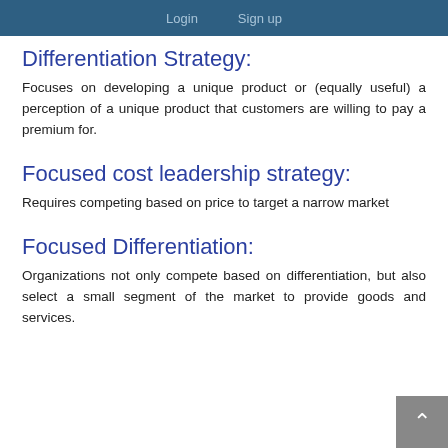Login   Sign up
Differentiation Strategy:
Focuses on developing a unique product or (equally useful) a perception of a unique product that customers are willing to pay a premium for.
Focused cost leadership strategy:
Requires competing based on price to target a narrow market
Focused Differentiation:
Organizations not only compete based on differentiation, but also select a small segment of the market to provide goods and services.